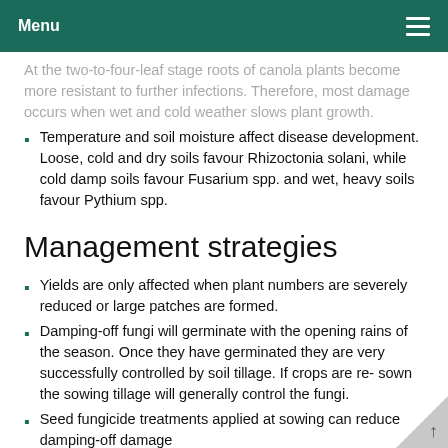Menu
At the two-to-four-leaf stage roots of canola plants become more resistant to further infections. Therefore, most damage occurs when wet and cold weather slows plant growth.
Temperature and soil moisture affect disease development. Loose, cold and dry soils favour Rhizoctonia solani, while cold damp soils favour Fusarium spp. and wet, heavy soils favour Pythium spp.
Management strategies
Yields are only affected when plant numbers are severely reduced or large patches are formed.
Damping-off fungi will germinate with the opening rains of the season. Once they have germinated they are very successfully controlled by soil tillage. If crops are re- sown the sowing tillage will generally control the fungi.
Seed fungicide treatments applied at sowing can reduce damping-off damage
See also